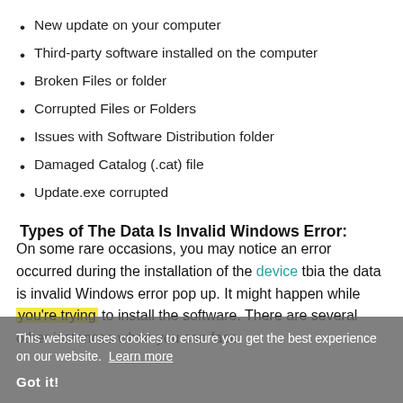New update on your computer
Third-party software installed on the computer
Broken Files or folder
Corrupted Files or Folders
Issues with Software Distribution folder
Damaged Catalog (.cat) file
Update.exe corrupted
Types of The Data Is Invalid Windows Error:
On some rare occasions, you may notice an error occurred during the installation of the device tbia the data is invalid Windows error pop up. It might happen while you're trying to install the software. There are several other instances when you can face
This website uses cookies to ensure you get the best experience on our website.  Learn more